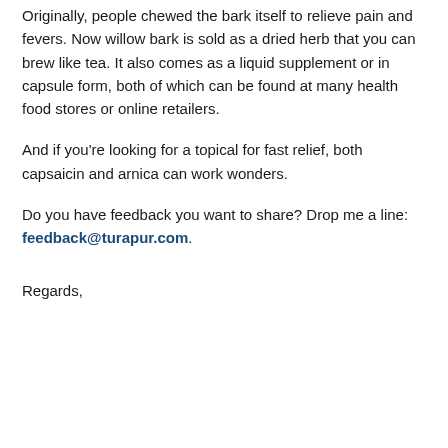Originally, people chewed the bark itself to relieve pain and fevers. Now willow bark is sold as a dried herb that you can brew like tea. It also comes as a liquid supplement or in capsule form, both of which can be found at many health food stores or online retailers.
And if you're looking for a topical for fast relief, both capsaicin and arnica can work wonders.
Do you have feedback you want to share? Drop me a line: feedback@turapur.com.
Regards,